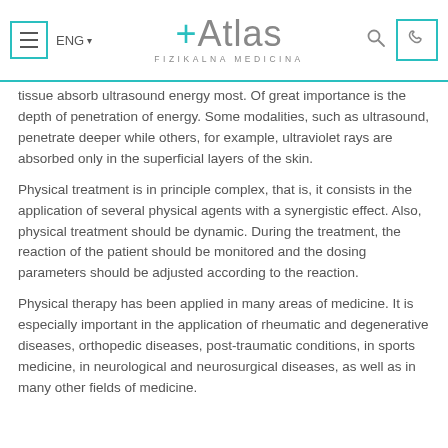Atlas Fizikalna Medicina — ENG
tissue absorb ultrasound energy most. Of great importance is the depth of penetration of energy. Some modalities, such as ultrasound, penetrate deeper while others, for example, ultraviolet rays are absorbed only in the superficial layers of the skin.
Physical treatment is in principle complex, that is, it consists in the application of several physical agents with a synergistic effect. Also, physical treatment should be dynamic. During the treatment, the reaction of the patient should be monitored and the dosing parameters should be adjusted according to the reaction.
Physical therapy has been applied in many areas of medicine. It is especially important in the application of rheumatic and degenerative diseases, orthopedic diseases, post-traumatic conditions, in sports medicine, in neurological and neurosurgical diseases, as well as in many other fields of medicine.